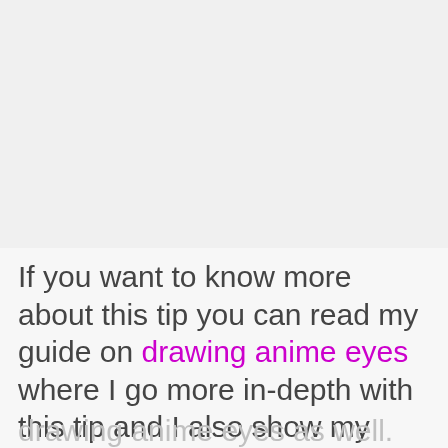[Figure (other): Blank light gray image placeholder at the top of the page]
If you want to know more about this tip you can read my guide on drawing anime eyes where I go more in-depth with this tip and I also show my approach on drawing anime eyes as well.